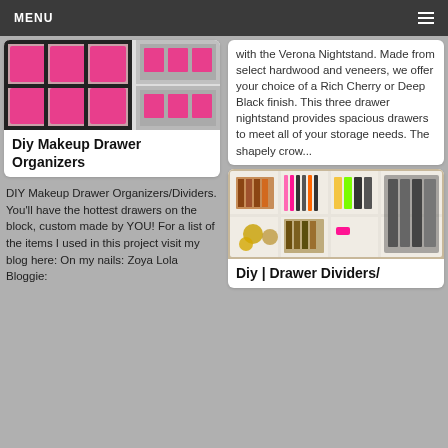MENU
[Figure (photo): Collage of DIY makeup drawer organizers with pink fabric dividers in white drawer]
Diy Makeup Drawer Organizers
DIY Makeup Drawer Organizers/Dividers. You'll have the hottest drawers on the block, custom made by YOU! For a list of the items I used in this project visit my blog here: On my nails: Zoya Lola Bloggie:
with the Verona Nightstand. Made from select hardwood and veneers, we offer your choice of a Rich Cherry or Deep Black finish. This three drawer nightstand provides spacious drawers to meet all of your storage needs. The shapely crow...
[Figure (photo): Drawer dividers organizer with makeup and accessories sorted in white grid sections]
Diy | Drawer Dividers/